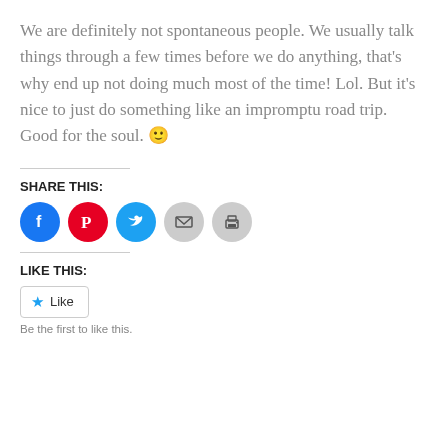We are definitely not spontaneous people. We usually talk things through a few times before we do anything, that’s why end up not doing much most of the time! Lol. But it’s nice to just do something like an impromptu road trip. Good for the soul. 🙂
SHARE THIS:
[Figure (infographic): Social sharing icons: Facebook (blue circle), Pinterest (red circle), Twitter (cyan circle), Email (grey circle), Print (grey circle)]
LIKE THIS:
Like
Be the first to like this.